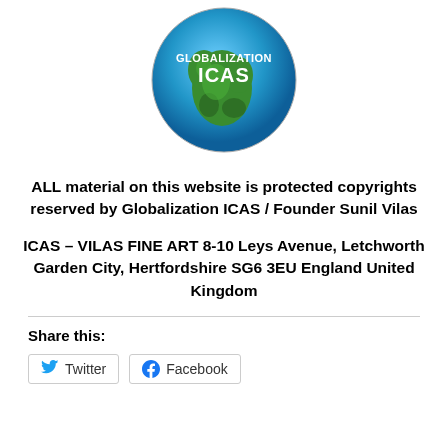[Figure (logo): Globalization ICAS globe logo with text 'GLOBALIZATION ICAS' on a blue and green globe]
ALL material on this website is protected copyrights reserved by Globalization ICAS / Founder Sunil Vilas
ICAS – VILAS FINE ART 8-10 Leys Avenue, Letchworth Garden City, Hertfordshire SG6 3EU England United Kingdom
Share this:
Twitter  Facebook